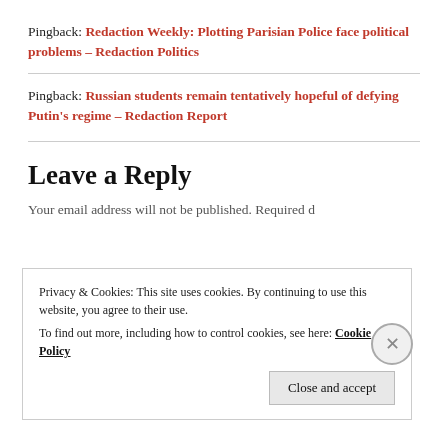Pingback: Redaction Weekly: Plotting Parisian Police face political problems – Redaction Politics
Pingback: Russian students remain tentatively hopeful of defying Putin's regime – Redaction Report
Leave a Reply
Your email address will not be published. Required...
Privacy & Cookies: This site uses cookies. By continuing to use this website, you agree to their use. To find out more, including how to control cookies, see here: Cookie Policy